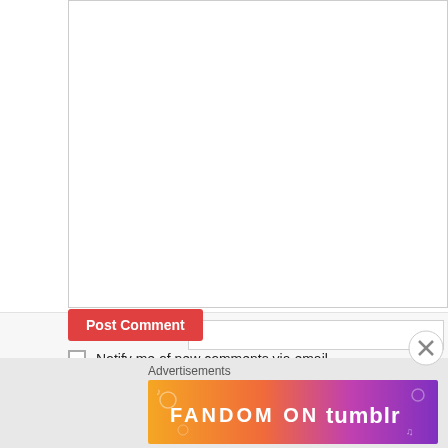[Figure (screenshot): Web form comment area with white textarea (partially visible), Name field with red asterisk, Email field with red asterisk, Website field, Post Comment red button, two checkboxes for email notification, close X button, and Fandom on Tumblr advertisement banner at bottom]
Name *
Email *
Website
Post Comment
Notify me of new comments via email.
Notify me of new posts via email.
Advertisements
[Figure (illustration): FANDOM ON tumblr colorful advertisement banner with orange to purple gradient background and decorative elements]